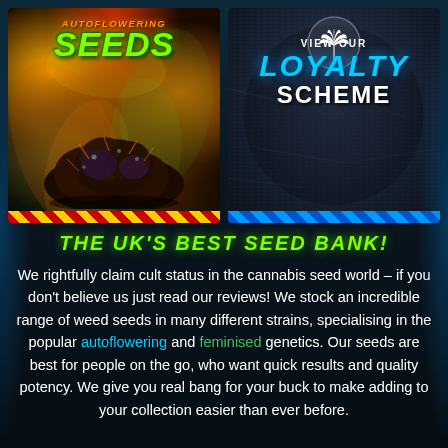[Figure (illustration): Autoflowering Seeds promotional banner with cannabis bud photo, orange and green flame swirls on dark background, yellow/red danger stripes at bottom]
[Figure (illustration): View Our Loyalty Scheme banner with cannabis leaf icon on dark stone-textured blue-grey background, blue diagonal stripes at bottom]
THE UK'S BEST SEED BANK!
We rightfully claim cult status in the cannabis seed world – if you don't believe us just read our reviews! We stock an incredible range of weed seeds in many different strains, specialising in the popular autoflowering and feminised genetics. Our seeds are best for people on the go, who want quick results and quality potency. We give you real bang for your buck to make adding to your collection easier than ever before.